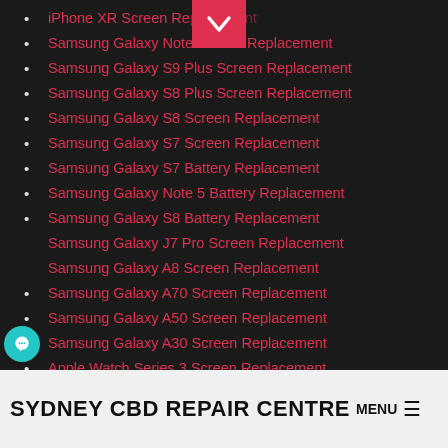iPhone XR Screen Replacement
Samsung Galaxy Note Screen Replacement
Samsung Galaxy S9 Plus Screen Replacement
Samsung Galaxy S8 Plus Screen Replacement
Samsung Galaxy S8 Screen Replacement
Samsung Galaxy S7 Screen Replacement
Samsung Galaxy S7 Battery Replacement
Samsung Galaxy Note 5 Battery Replacement
Samsung Galaxy S8 Battery Replacement
Samsung Galaxy J7 Pro Screen Replacement
Samsung Galaxy A8 Screen Replacement
Samsung Galaxy A70 Screen Replacement
Samsung Galaxy A50 Screen Replacement
Samsung Galaxy A30 Screen Replacement
Apple Watch Series 3 Screen Replacement
Apple Watch Series 4 Screen Replacement
OnePlus 6t Screen Replacement
SYDNEY CBD REPAIR CENTRE  MENU ≡